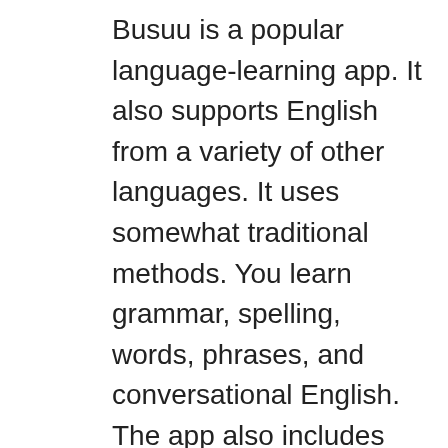Busuu is a popular language-learning app. It also supports English from a variety of other languages. It uses somewhat traditional methods. You learn grammar, spelling, words, phrases, and conversational English. The app also includes accent training and it's one of the few good offline English learning apps. It's a tad expensive for its yearly subscription. However, you do get a decent amount of content for free to get yourself started. The app itself is about the only other